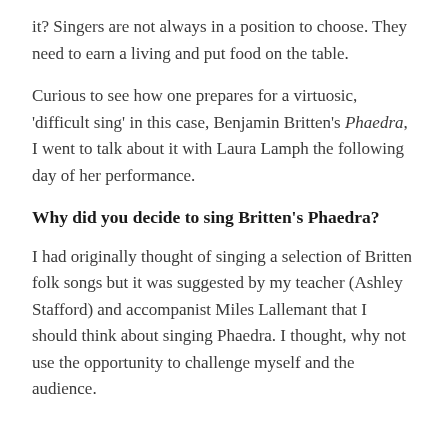it? Singers are not always in a position to choose. They need to earn a living and put food on the table.
Curious to see how one prepares for a virtuosic, 'difficult sing' in this case, Benjamin Britten's Phaedra, I went to talk about it with Laura Lamph the following day of her performance.
Why did you decide to sing Britten's Phaedra?
I had originally thought of singing a selection of Britten folk songs but it was suggested by my teacher (Ashley Stafford) and accompanist Miles Lallemant that I should think about singing Phaedra. I thought, why not use the opportunity to challenge myself and the audience.